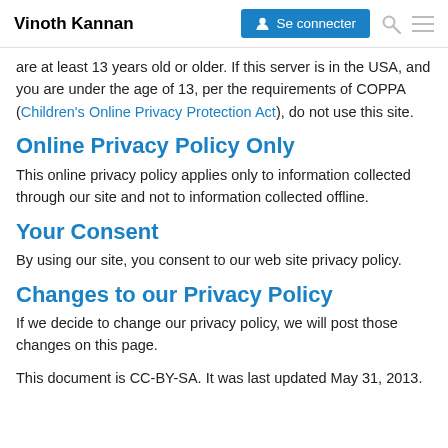Vinoth Kannan | Se connecter
are at least 13 years old or older. If this server is in the USA, and you are under the age of 13, per the requirements of COPPA (Children's Online Privacy Protection Act), do not use this site.
Online Privacy Policy Only
This online privacy policy applies only to information collected through our site and not to information collected offline.
Your Consent
By using our site, you consent to our web site privacy policy.
Changes to our Privacy Policy
If we decide to change our privacy policy, we will post those changes on this page.
This document is CC-BY-SA. It was last updated May 31, 2013.